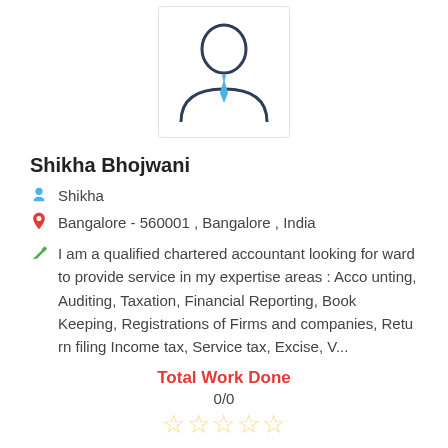[Figure (illustration): Generic profile/avatar icon showing a person with a blue tie, inside a rounded rectangle border]
Shikha Bhojwani
Shikha
Bangalore - 560001 , Bangalore , India
I am a qualified chartered accountant looking forward to provide service in my expertise areas : Accounting, Auditing, Taxation, Financial Reporting, Book Keeping, Registrations of Firms and companies, Return filing Income tax, Service tax, Excise, V...
Total Work Done
0/0
[Figure (illustration): Five empty star rating icons in gold/yellow]
[Figure (illustration): Social media icons: Facebook (dark blue circle with f), Twitter (light blue circle with bird), WhatsApp (green circle with phone)]